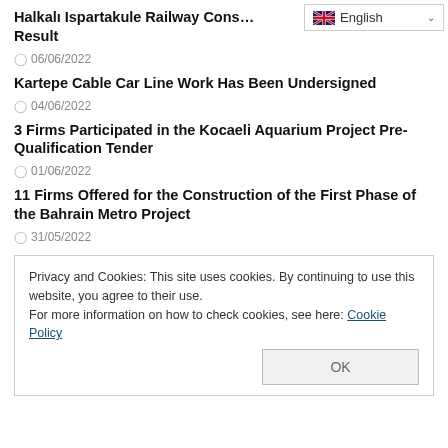[Figure (screenshot): Language selector dropdown showing English with flag icon and chevron]
Halkalı Ispartakule Railway Construction Work Tender Result
06/06/2022
Kartepe Cable Car Line Work Has Been Undersigned
04/06/2022
3 Firms Participated in the Kocaeli Aquarium Project Pre-Qualification Tender
01/06/2022
11 Firms Offered for the Construction of the First Phase of the Bahrain Metro Project
31/05/2022
Ispartakule Çerkezköy Bids Collected in the Tender of the Railway Line Construction Work
Privacy and Cookies: This site uses cookies. By continuing to use this website, you agree to their use.
For more information on how to check cookies, see here: Cookie Policy
OK